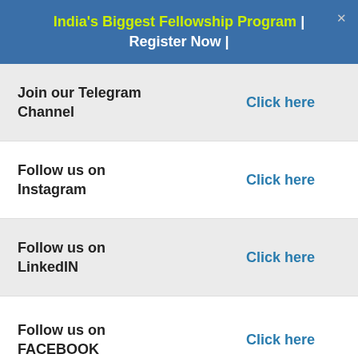India's Biggest Fellowship Program | Register Now |
|  |  |
| --- | --- |
| Join our Telegram Channel | Click here |
| Follow us on Instagram | Click here |
| Follow us on LinkedIN | Click here |
| Follow us on FACEBOOK | Click here |
Other Resources
|  |  |
| --- | --- |
| Top Companies are hiring | Check here |